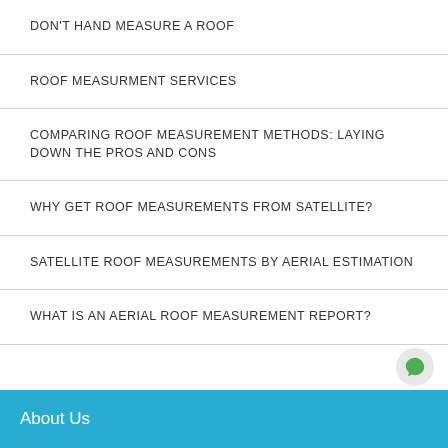DON'T HAND MEASURE A ROOF
ROOF MEASURMENT SERVICES
COMPARING ROOF MEASUREMENT METHODS: LAYING DOWN THE PROS AND CONS
WHY GET ROOF MEASUREMENTS FROM SATELLITE?
SATELLITE ROOF MEASUREMENTS BY AERIAL ESTIMATION
WHAT IS AN AERIAL ROOF MEASUREMENT REPORT?
About Us